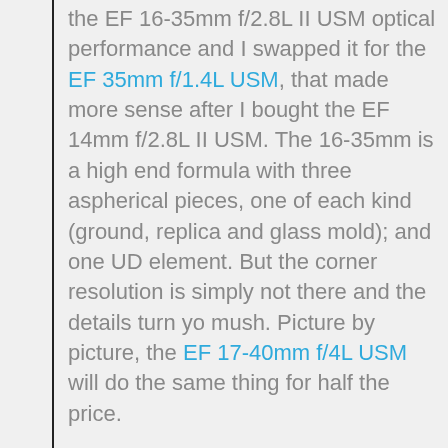the EF 16-35mm f/2.8L II USM optical performance and I swapped it for the EF 35mm f/1.4L USM, that made more sense after I bought the EF 14mm f/2.8L II USM. The 16-35mm is a high end formula with three aspherical pieces, one of each kind (ground, replica and glass mold); and one UD element. But the corner resolution is simply not there and the details turn yo mush. Picture by picture, the EF 17-40mm f/4L USM will do the same thing for half the price.